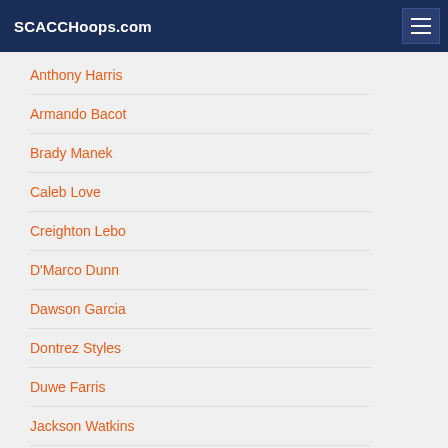SCACCHoops.com
Anthony Harris
Armando Bacot
Brady Manek
Caleb Love
Creighton Lebo
D'Marco Dunn
Dawson Garcia
Dontrez Styles
Duwe Farris
Jackson Watkins
Justin McKoy
Kerwin Walton